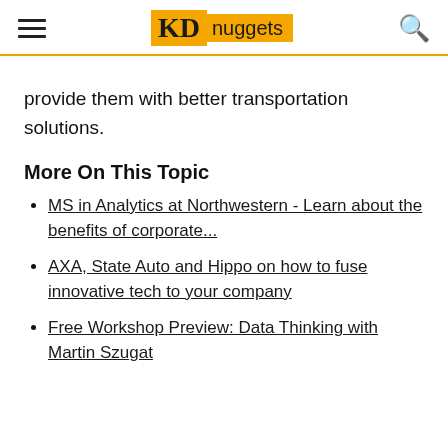KDnuggets
provide them with better transportation solutions.
More On This Topic
MS in Analytics at Northwestern - Learn about the benefits of corporate...
AXA, State Auto and Hippo on how to fuse innovative tech to your company
Free Workshop Preview: Data Thinking with Martin Szugat